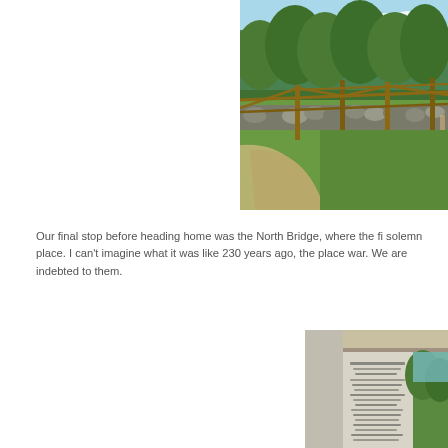[Figure (photo): Outdoor scene showing a split-rail wooden fence along a dirt path, with a stone wall in the background and trees overhead. Green grass visible on the right. Historic battlefield area, likely Concord North Bridge.]
Our final stop before heading home was the North Bridge, where the fi solemn place. I can't imagine what it was like 230 years ago, the place war. We are indebted to them.
[Figure (photo): A stone monument or marker with inscribed text, partially visible under a wooden structure overhang. Trees and sky visible in the background.]